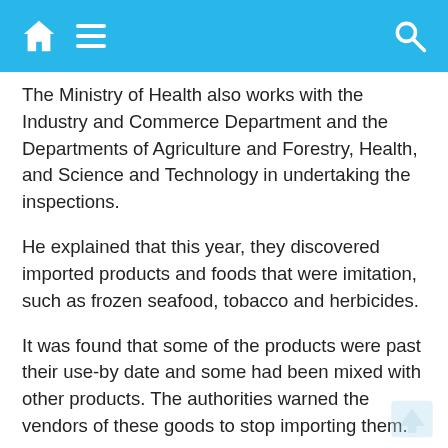Home | Menu | Search
The Ministry of Health also works with the Industry and Commerce Department and the Departments of Agriculture and Forestry, Health, and Science and Technology in undertaking the inspections.
He explained that this year, they discovered imported products and foods that were imitation, such as frozen seafood, tobacco and herbicides.
It was found that some of the products were past their use-by date and some had been mixed with other products. The authorities warned the vendors of these goods to stop importing them.
It is prohibited to distribute food using methods that are inconsistent with the laws and regulations on food.